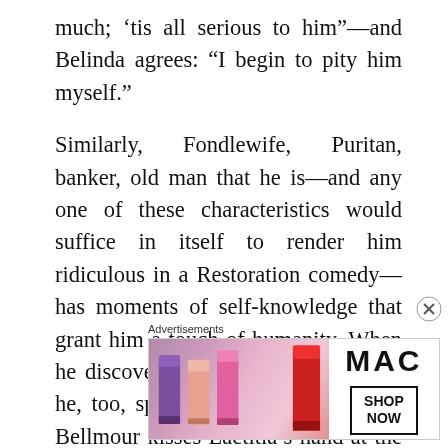much; ‘tis all serious to him”—and Belinda agrees: “I begin to pity him myself.”
Similarly, Fondlewife, Puritan, banker, old man that he is—and any one of these characteristics would suffice in itself to render him ridiculous in a Restoration comedy— has moments of self-knowledge that grant him a touch of humanity. When he discovers Bellmour with his wife, he, too, speaks with dignity. Though Bellmour kisses Laetitia’s hand at the very moment she is being reconciled to her husband.
Advertisements
[Figure (photo): MAC cosmetics advertisement showing lipsticks on the left and MAC logo with SHOP NOW button on the right]